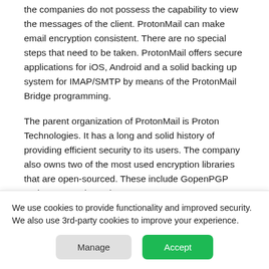the companies do not possess the capability to view the messages of the client. ProtonMail can make email encryption consistent. There are no special steps that need to be taken. ProtonMail offers secure applications for iOS, Android and a solid backing up system for IMAP/SMTP by means of the ProtonMail Bridge programming.
The parent organization of ProtonMail is Proton Technologies. It has a long and solid history of providing efficient security to its users. The company also owns two of the most used encryption libraries that are open-sourced. These include GopenPGP and OpenPGPjs. It also
We use cookies to provide functionality and improved security. We also use 3rd-party cookies to improve your experience.